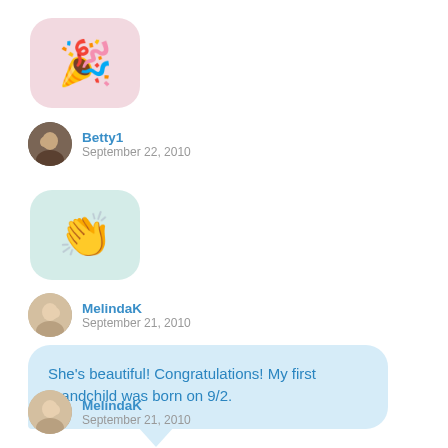[Figure (illustration): Party popper emoji in a pink rounded bubble]
Betty1
September 22, 2010
[Figure (illustration): Clapping hands emoji in a mint/teal rounded bubble]
MelindaK
September 21, 2010
She's beautiful! Congratulations! My first grandchild was born on 9/2.
MelindaK
September 21, 2010
Very cute.